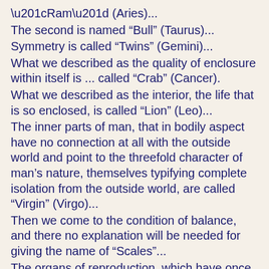“Ram” (Aries)...
The second is named “Bull” (Taurus)...
Symmetry is called “Twins” (Gemini)...
What we described as the quality of enclosure within itself is ... called “Crab” (Cancer).
What we described as the interior, the life that is so enclosed, is called “Lion” (Leo)...
The inner parts of man, that in bodily aspect have no connection at all with the outside world and point to the threefold character of man's nature, themselves typifying complete isolation from the outside world, are called “Virgin” (Virgo)...
Then we come to the condition of balance, and there no explanation will be needed for giving the name of “Scales”...
The organs of reproduction, which have once more the direction outwards, are denoted by the expression “Scorpion” (Scorpio)...
The Thigh is called “Archer” (Sagittarius)...
The knees, the “Goat” (Capricorn)...